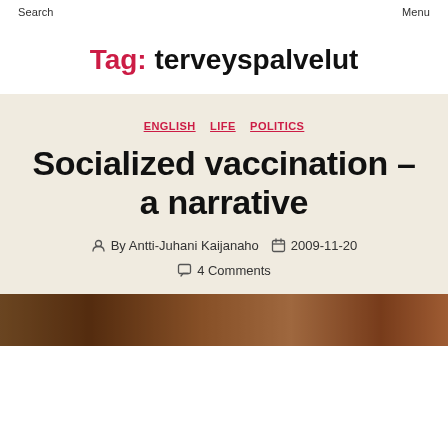Search    Menu
Tag: terveyspalvelut
ENGLISH  LIFE  POLITICS
Socialized vaccination – a narrative
By Antti-Juhani Kaijanaho   2009-11-20   4 Comments
[Figure (photo): Partial photo strip at the bottom of the page, showing an outdoor scene with warm earthy tones.]